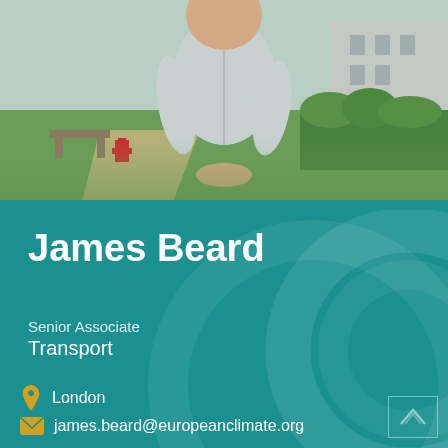[Figure (photo): Outdoor photo of James Beard, a man in a light grey short-sleeve button-up shirt, standing outdoors in front of a park with benches, grass, and a red fire hydrant visible in the background.]
James Beard
Senior Associate
Transport
London
james.beard@europeanclimate.org